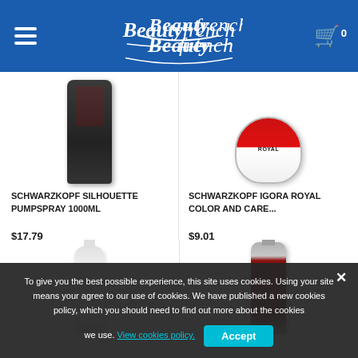Beautyfrench — navigation header with hamburger menu and cart (0 items)
[Figure (photo): Schwarzkopf Silhouette Pumpspray 1000ml — dark grey bottle product image]
SCHWARZKOPF SILHOUETTE PUMPSPRAY 1000ML
$17.79
[Figure (photo): Schwarzkopf Igora Royal Color and Care — red and white round jar product image]
SCHWARZKOPF IGORA ROYAL COLOR AND CARE...
$9.01
[Figure (photo): White spray bottle product image (partial, bottom portion)]
[Figure (photo): Silver and dark red bottle product image (partial, bottom portion)]
To give you the best possible experience, this site uses cookies. Using your site means your agree to our use of cookies. We have published a new cookies policy, which you should need to find out more about the cookies we use. View cookies policy. Accept